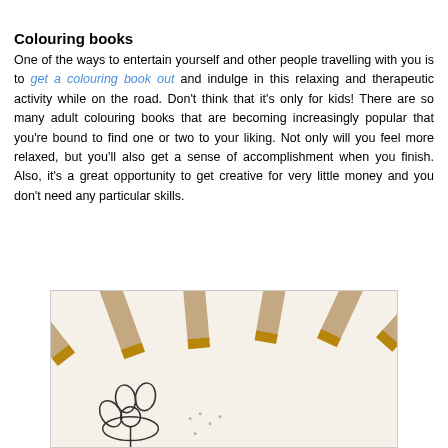Colouring books
One of the ways to entertain yourself and other people travelling with you is to get a colouring book out and indulge in this relaxing and therapeutic activity while on the road. Don't think that it's only for kids! There are so many adult colouring books that are becoming increasingly popular that you're bound to find one or two to your liking. Not only will you feel more relaxed, but you'll also get a sense of accomplishment when you finish. Also, it's a great opportunity to get creative for very little money and you don't need any particular skills.
[Figure (photo): Close-up photo of several coloured pencils (purple, red/pink, yellow, teal/green, orange/red, blue) lying on a colouring book page with a flower outline drawing.]